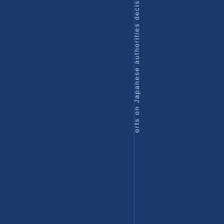[Figure (other): Dark navy blue background page with a vertical line and vertical text reading 'orts on Japanese authorities decis' (partial text visible), rendered as a book spine or rotated page element]